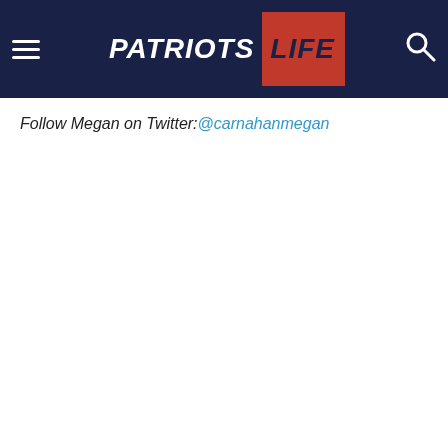Patriots Life
Follow Megan on Twitter:@carnahanmegan